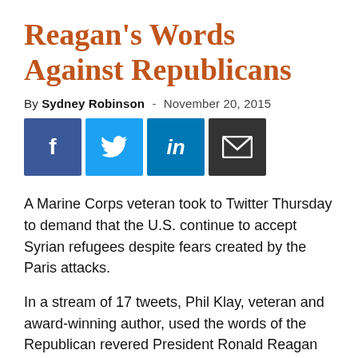Reagan's Words Against Republicans
By Sydney Robinson - November 20, 2015
[Figure (other): Social media share buttons: Facebook (blue), Twitter (light blue), LinkedIn (dark blue), Email (black)]
A Marine Corps veteran took to Twitter Thursday to demand that the U.S. continue to accept Syrian refugees despite fears created by the Paris attacks.
In a stream of 17 tweets, Phil Klay, veteran and award-winning author, used the words of the Republican revered President Ronald Reagan against the very party that worships him by citing Reagan's farewell address as justification for why the U.S. should never bar refugees from entering